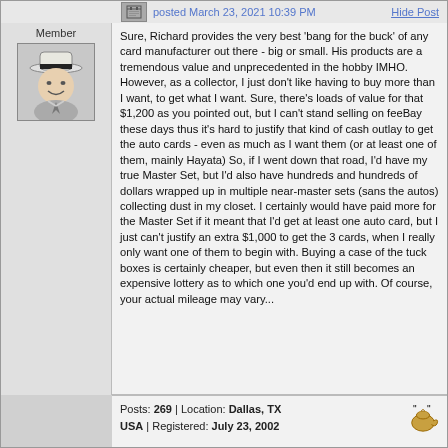posted March 23, 2021 10:39 PM   Hide Post
Member
Sure, Richard provides the very best 'bang for the buck' of any card manufacturer out there - big or small. His products are a tremendous value and unprecedented in the hobby IMHO. However, as a collector, I just don't like having to buy more than I want, to get what I want. Sure, there's loads of value for that $1,200 as you pointed out, but I can't stand selling on feeBay these days thus it's hard to justify that kind of cash outlay to get the auto cards - even as much as I want them (or at least one of them, mainly Hayata) So, if I went down that road, I'd have my true Master Set, but I'd also have hundreds and hundreds of dollars wrapped up in multiple near-master sets (sans the autos) collecting dust in my closet. I certainly would have paid more for the Master Set if it meant that I'd get at least one auto card, but I just can't justify an extra $1,000 to get the 3 cards, when I really only want one of them to begin with. Buying a case of the tuck boxes is certainly cheaper, but even then it still becomes an expensive lottery as to which one you'd end up with. Of course, your actual mileage may vary...
Posts: 269 | Location: Dallas, TX USA | Registered: July 23, 2002